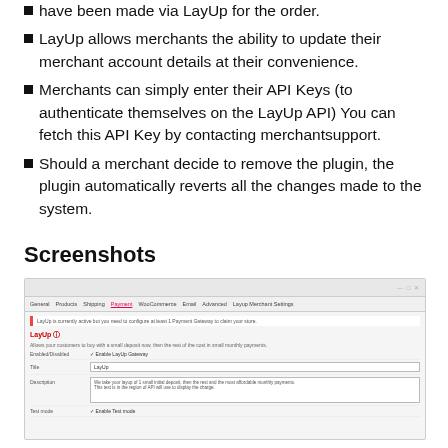have been made via LayUp for the order.
LayUp allows merchants the ability to update their merchant account details at their convenience.
Merchants can simply enter their API Keys (to authenticate themselves on the LayUp API) You can fetch this API Key by contacting merchantsupport.
Should a merchant decide to remove the plugin, the plugin automatically reverts all the changes made to the system.
Screenshots
[Figure (screenshot): Screenshot of LayUp merchant settings plugin configuration page in a web browser, showing tabs including General, Products, Shipping, Payment, WooCommerce, Layup Merchant Settings, and configuration fields for Enabled/Disabled state, Title, Description, and Test mode.]